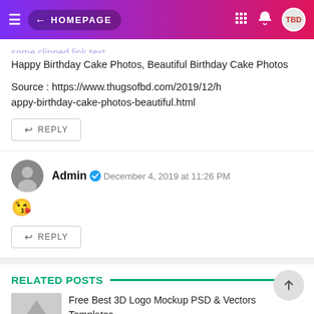HOMEPAGE
Happy Birthday Cake Photos, Beautiful Birthday Cake Photos
Source : https://www.thugsofbd.com/2019/12/happy-birthday-cake-photos-beautiful.html
REPLY
Admin  December 4, 2019 at 11:26 PM
😘
REPLY
RELATED POSTS
Free Best 3D Logo Mockup PSD & Vectors Templates